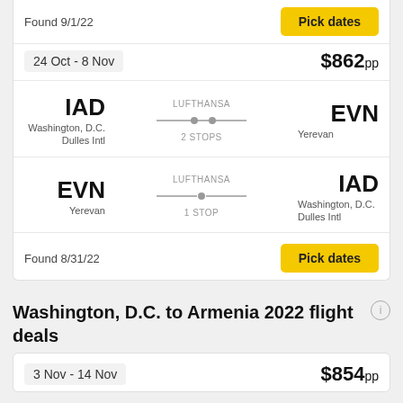Found 9/1/22
Pick dates
24 Oct - 8 Nov
$862pp
IAD
Washington, D.C.
Dulles Intl
LUFTHANSA
2 STOPS
EVN
Yerevan
EVN
Yerevan
LUFTHANSA
1 STOP
IAD
Washington, D.C.
Dulles Intl
Found 8/31/22
Pick dates
Washington, D.C. to Armenia 2022 flight deals
3 Nov - 14 Nov
$854pp